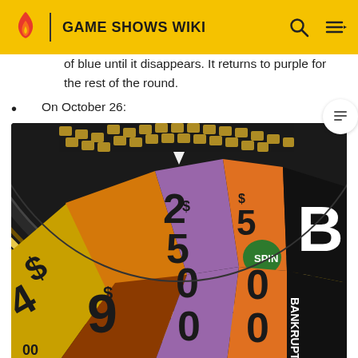GAME SHOWS WIKI
of blue until it disappears. It returns to purple for the rest of the round.
On October 26:
[Figure (photo): Close-up photograph of a Wheel of Fortune prize wheel showing segments including $9000, $2500, SPIN, $500, BANKRUPT, and partial segments. The wheel has colorful wedges in yellow, purple, orange, and black.]